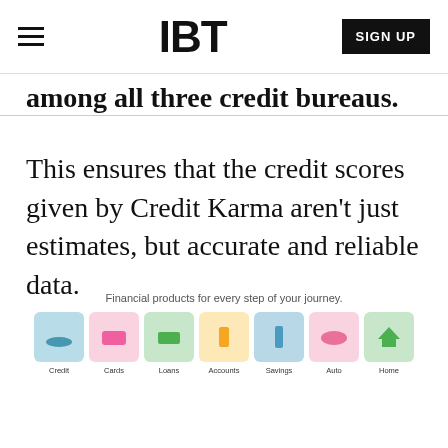IBT
among all three credit bureaus.
This ensures that the credit scores given by Credit Karma aren't just estimates, but accurate and reliable data.
[Figure (infographic): Credit Karma financial product categories shown as colored icon tiles: Credit (teal/blue), Cards (pink), Loans (green), Accounts (amber), Savings (light blue), Auto (pink/rose), Home (green). Caption reads: Financial products for every step of your journey.]